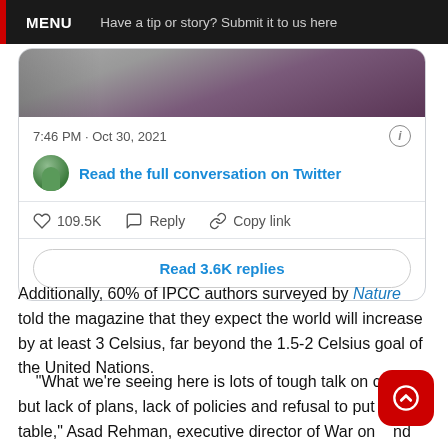MENU   Have a tip or story? Submit it to us here
[Figure (screenshot): Tweet card showing photo, timestamp 7:46 PM · Oct 30, 2021, 'Read the full conversation on Twitter' link, like count 109.5K, Reply, Copy link actions, and 'Read 3.6K replies' button]
Additionally, 60% of IPCC authors surveyed by Nature told the magazine that they expect the world will increase by at least 3 Celsius, far beyond the 1.5-2 Celsius goal of the United Nations.
“What we’re seeing here is lots of tough talk on climate, but lack of plans, lack of policies and refusal to put mo the table,” Asad Rehman, executive director of War on nd lead spokesperson for the COP26 Coalition, told Democracy